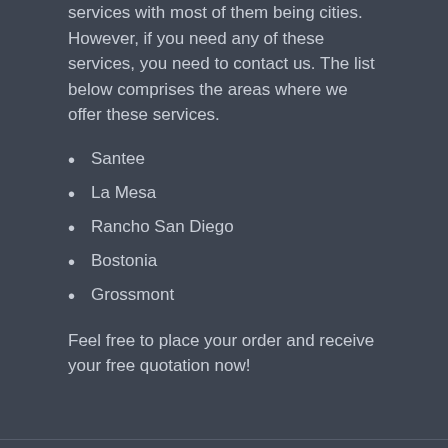services with most of them being cities. However, if you need any of these services, you need to contact us. The list below comprises the areas where we offer these services.
Santee
La Mesa
Rancho San Diego
Bostonia
Grossmont
Feel free to place your order and receive your free quotation now!
Powered by El Cajon CA Tree Trimming and Stump Grinding Services.